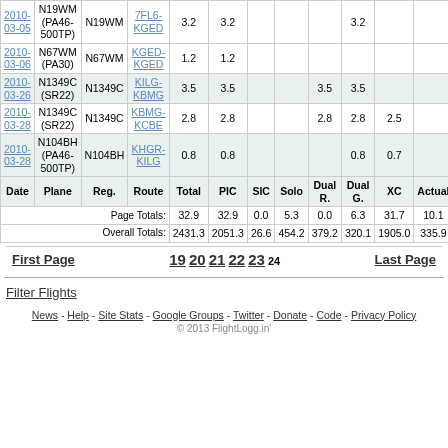| Date | Plane | Reg. | Route | Total | PIC | SIC | Solo | Dual R. | Dual G. | XC | Actual | Hood | Nig |
| --- | --- | --- | --- | --- | --- | --- | --- | --- | --- | --- | --- | --- | --- |
| 2010-03-05 | N19WM (PA46-500TP) | N19WM | 7FL6-KGED | 3.2 | 3.2 |  |  |  | 3.2 |  |  |  |  |
| 2010-03-06 | N67WM (PA30) | N67WM | KGED-KGED | 1.2 | 1.2 |  |  |  |  |  |  |  |  |
| 2010-03-26 | N1349C (SR22) | N1349C | KILG-KBMG | 3.5 | 3.5 |  |  | 3.5 | 3.5 |  |  |  | 1 |
| 2010-03-28 | N1349C (SR22) | N1349C | KBMG-KCBE | 2.8 | 2.8 |  |  | 2.8 | 2.8 | 2.5 |  |  |  |
| 2010-03-28 | N104BH (PA46-500TP) | N104BH | KHGR-KILG | 0.8 | 0.8 |  |  |  | 0.8 | 0.7 |  | 0. |
| Date | Plane | Reg. | Route | Total | PIC | SIC | Solo | Dual R. | Dual G. | XC | Actual | Hood | Nig |
|  |  | Page Totals: |  | 32.9 | 32.9 | 0.0 | 5.3 | 0.0 | 6.3 | 31.7 | 10.1 | 0.0 | 2 |
|  |  | Overall Totals: |  | 2431.3 | 2051.3 | 26.6 | 454.2 | 379.2 | 320.1 | 1905.0 | 335.9 | 45.0 | 11 |
First Page   19 20 21 22 23 24   Last Page
Filter Flights
News - Help - Site Stats - Google Groups - Twitter - Donate - Code - Privacy Policy
© 2013 FlightLogg.in'